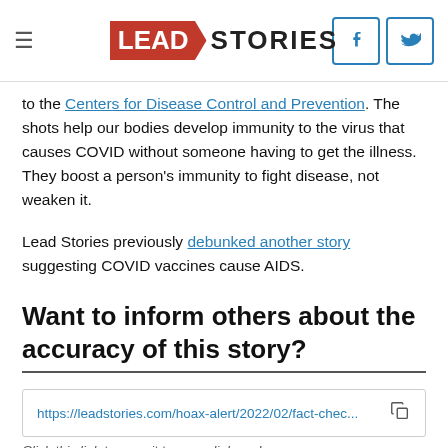Lead Stories [logo] [Facebook] [Twitter]
to the Centers for Disease Control and Prevention. The shots help our bodies develop immunity to the virus that causes COVID without someone having to get the illness. They boost a person's immunity to fight disease, not weaken it.
Lead Stories previously debunked another story suggesting COVID vaccines cause AIDS.
Want to inform others about the accuracy of this story?
https://leadstories.com/hoax-alert/2022/02/fact-chec...
Click this link to copy it to your clipboard
See who is sharing it (it might even be your friends...) and leave the link in the comments.: